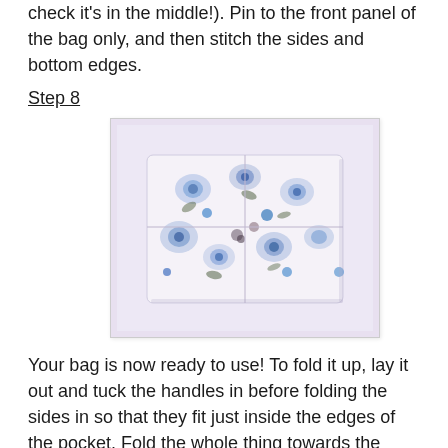check it's in the middle!). Pin to the front panel of the bag only, and then stitch the sides and bottom edges.
Step 8
[Figure (photo): A folded reusable shopping bag made from white fabric with blue and grey floral print, shown flat on a light purple/white background. The bag is neatly folded into a rectangular shape.]
Your bag is now ready to use! To fold it up, lay it out and tuck the handles in before folding the sides in so that they fit just inside the edges of the pocket. Fold the whole thing towards the pocket, making sure that